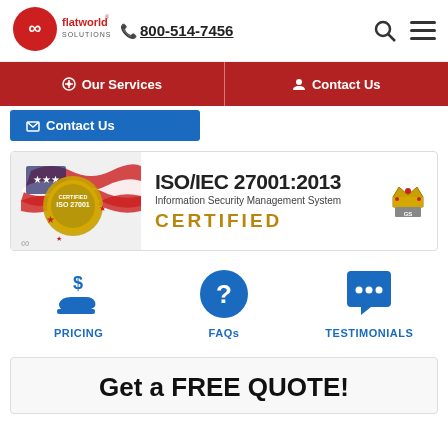[Figure (logo): Flatworld Solutions logo with infinity symbol in red circle and company name]
800-514-7456
[Figure (infographic): Search and hamburger menu icons in top right]
Our Services
Contact Us
[Figure (infographic): ISO/IEC 27001:2013 Information Security Management System CERTIFIED banner with American flag and gold medal]
[Figure (infographic): Dollar/Pricing icon - PRICING]
[Figure (infographic): Question mark icon - FAQs]
[Figure (infographic): Chat bubble icon - TESTIMONIALS]
Get a FREE QUOTE!